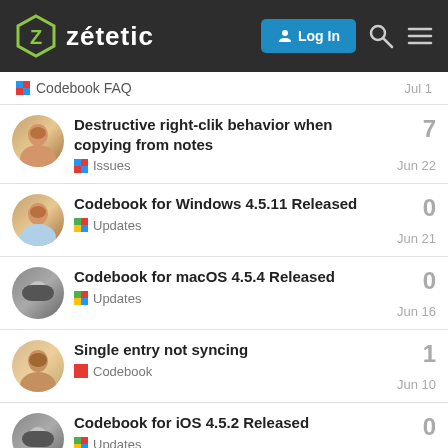zetetic — Log In
Codebook FAQ — Jul 1
Destructive right-clik behavior when copying from notes — Issues — Jun 22 — 7
Codebook for Windows 4.5.11 Released — Updates — Jun 21 — 0
Codebook for macOS 4.5.4 Released — Updates — Jun 16 — 0
Single entry not syncing — Codebook — Jun 10 — 1
Codebook for iOS 4.5.2 Released — Updates — Jun 2 — 0